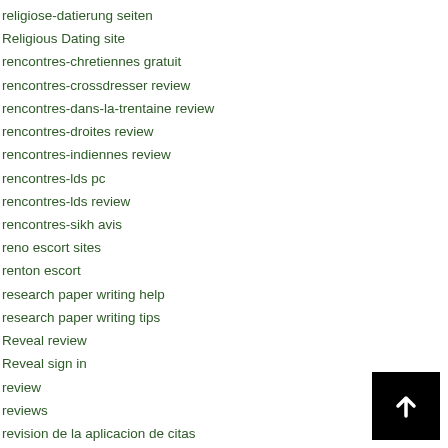religiose-datierung seiten
Religious Dating site
rencontres-chretiennes gratuit
rencontres-crossdresser review
rencontres-dans-la-trentaine review
rencontres-droites review
rencontres-indiennes review
rencontres-lds pc
rencontres-lds review
rencontres-sikh avis
reno escort sites
renton escort
research paper writing help
research paper writing tips
Reveal review
Reveal sign in
review
reviews
revision de la aplicacion de citas
[Figure (other): Black square button with white upward arrow icon]